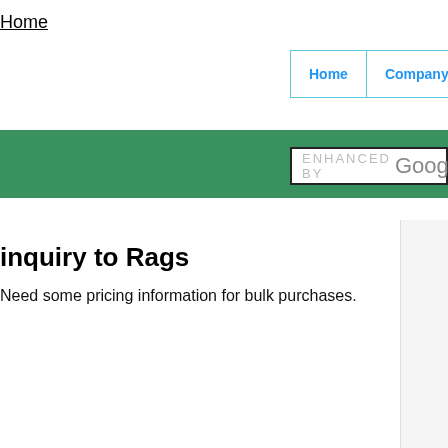Home
Home | Company Database
inquiry to Rags
Need some pricing information for bulk purchases.